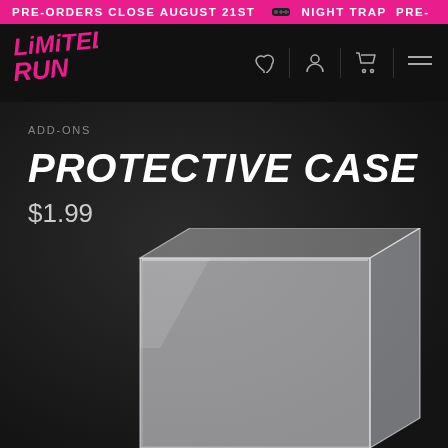PRE-ORDERS CLOSE AUGUST 21ST  NIGHT TRAP  PRE-
[Figure (logo): Limited Run Games logo in pink/magenta stylized graffiti font]
ADD-ONS
PROTECTIVE CASE
$1.99
[Figure (photo): Clear transparent plastic protective case shown from a 3/4 angle on a dark background]